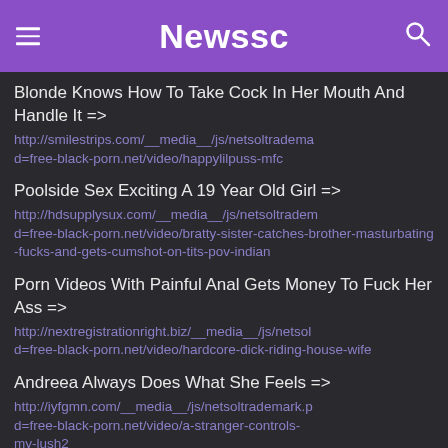Newssc
Blonde Knows How To Take Cock In Her Mouth And Handle It => http://smilestrips.com/__media__/js/netsoltrademark.php?d=free-black-porn.net/video/happylilpuss-mfc
Poolside Sex Exciting A 19 Year Old Girl => http://hdsupplysux.com/__media__/js/netsoltrademark.php?d=free-black-porn.net/video/bratty-sister-catches-brother-masturbating-fucks-and-gets-cumshot-on-tits-pov-indian
Porn Videos With Painful Anal Gets Money To Fuck Her Ass => http://nextregistrationright.biz/__media__/js/netsol?d=free-black-porn.net/video/hardcore-dick-riding-house-wife
Andreea Always Does What She Feels => http://iyfgmn.com/__media__/js/netsoltrademark.php?d=free-black-porn.net/video/a-stranger-controls-my-lush2